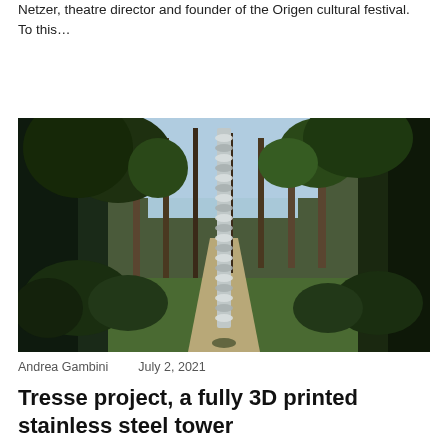Netzer, theatre director and founder of the Origen cultural festival. To this…
Read More
[Figure (photo): Outdoor park scene with trees lining a path, green lawn, shrubs, and a tall spiraling stainless steel tower sculpture in the foreground center.]
Andrea Gambini   July 2, 2021
Tresse project, a fully 3D printed stainless steel tower